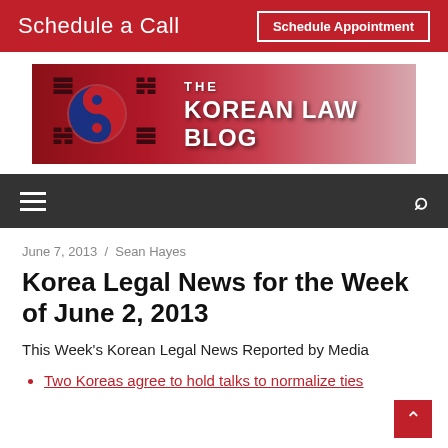Schedule a Call  Schedule Appointment
[Figure (logo): The Korean Law Blog banner logo with South Korean flag (Taegeukgi) on a red gradient background]
June 7, 2013 / Sean Hayes
Korea Legal News for the Week of June 2, 2013
This Week's Korean Legal News Reported by Media
Two Koreas agree to hold talks to normalize ties